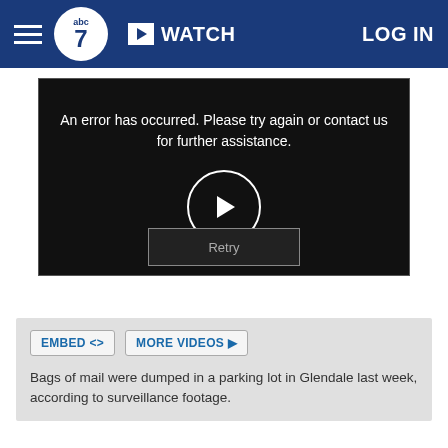abc7 | WATCH | LOG IN
[Figure (screenshot): Video player showing error message: 'An error has occurred. Please try again or contact us for further assistance.' with a play/retry button]
EMBED <> MORE VIDEOS ▶
Bags of mail were dumped in a parking lot in Glendale last week, according to surveillance footage.
Jimenez later found a second trash can with ballots and unopened mail.